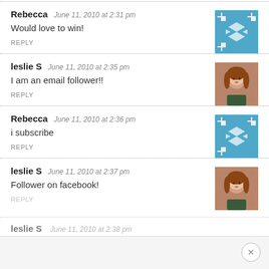Rebecca   June 11, 2010 at 2:31 pm
Would love to win!
REPLY
leslie S   June 11, 2010 at 2:35 pm
I am an email follower!!
REPLY
Rebecca   June 11, 2010 at 2:36 pm
i subscribe
REPLY
leslie S   June 11, 2010 at 2:37 pm
Follower on facebook!
REPLY
leslie S   June 11, 2010 at 2:38 pm